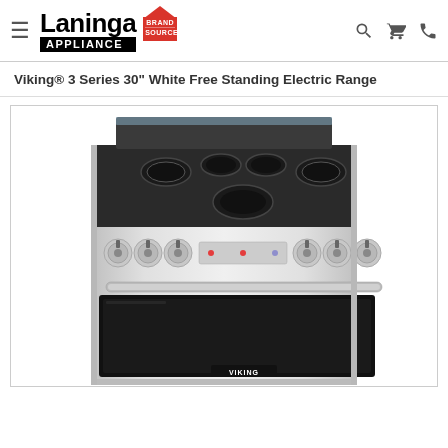Laninga Appliance Brand Source — navigation header
Viking® 3 Series 30" White Free Standing Electric Range
[Figure (photo): Viking 3 Series 30-inch white free standing electric range with stainless steel exterior, smooth ceramic cooktop with 5 burners, 7 control knobs, and black oven window with handle. Viking logo on front panel.]